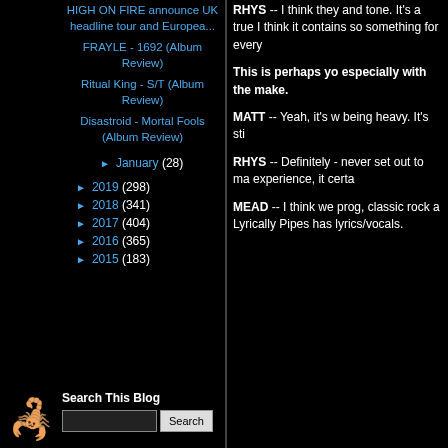HIGH ON FIRE announce UK headline tour and Europea...
FRAYLE - 1692 (Album Review)
Ritual King - S/T (Album Review)
Disastroid - Mortal Fools (Album Review)
January (28)
2019 (298)
2018 (341)
2017 (404)
2016 (365)
2015 (183)
Search This Blog
RHYS -- I think they and tone. It's a true I think it contains so something for every
This is perhaps yo especially with the make.
MATT -- Yeah, it's w being heavy. It's sti
RHYS -- Definitely - never set out to ma experience, it certa
MEAD -- I think we prog, classic rock a Lyrically Pipes has lyrics/vocals.